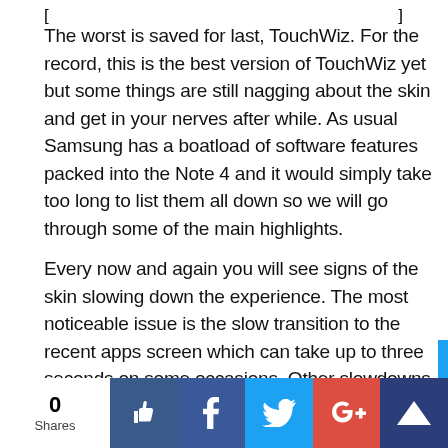[ … ]
The worst is saved for last, TouchWiz. For the record, this is the best version of TouchWiz yet but some things are still nagging about the skin and get in your nerves after while. As usual Samsung has a boatload of software features packed into the Note 4 and it would simply take too long to list them all down so we will go through some of the main highlights.
Every now and again you will see signs of the skin slowing down the experience. The most noticeable issue is the slow transition to the recent apps screen which can take up to three seconds on some occasions. Other slowdowns you may notice are occasional stutters if you swipe down the notifications
0 Shares [like] [f] [twitter] [G+] [crown]